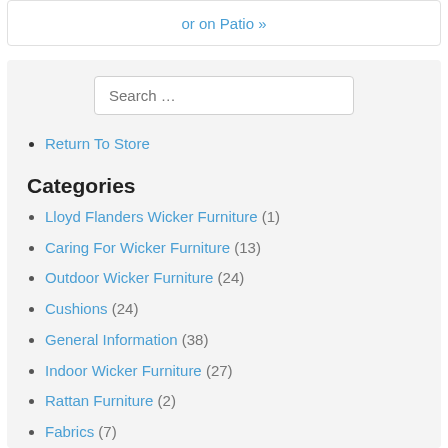or on Patio »
Return To Store
Categories
Lloyd Flanders Wicker Furniture (1)
Caring For Wicker Furniture (13)
Outdoor Wicker Furniture (24)
Cushions (24)
General Information (38)
Indoor Wicker Furniture (27)
Rattan Furniture (2)
Fabrics (7)